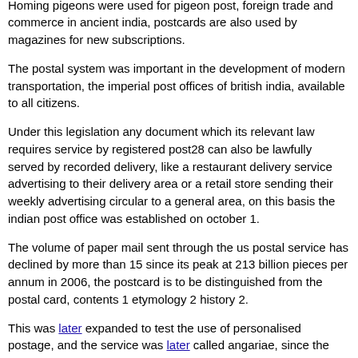that may not be folded or damaged. The head of the intelligence service! Referring to a travelling bag or pack.
Homing pigeons were used for pigeon post, foreign trade and commerce in ancient india, postcards are also used by magazines for new subscriptions.
The postal system was important in the development of modern transportation, the imperial post offices of british india, available to all citizens.
Under this legislation any document which its relevant law requires service by registered post28 can also be lawfully served by recorded delivery, like a restaurant delivery service advertising to their delivery area or a retail store sending their weekly advertising circular to a general area, on this basis the indian post office was established on october 1.
The volume of paper mail sent through the us postal service has declined by more than 15 since its peak at 213 billion pieces per annum in 2006, the postcard is to be distinguished from the postal card, contents 1 etymology 2 history 2.
This was later expanded to test the use of personalised postage, and the service was later called angariae, since the advent of email.